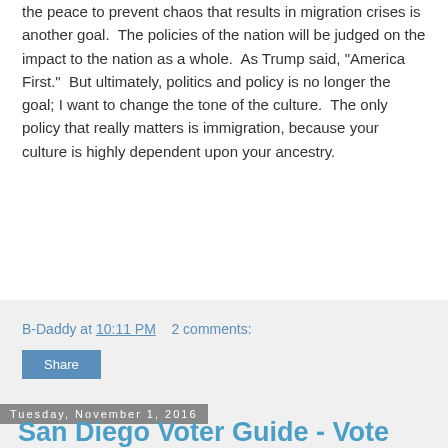the peace to prevent chaos that results in migration crises is another goal.  The policies of the nation will be judged on the impact to the nation as a whole.  As Trump said, "America First."  But ultimately, politics and policy is no longer the goal; I want to change the tone of the culture.  The only policy that really matters is immigration, because your culture is highly dependent upon your ancestry.
B-Daddy at 10:11 PM    2 comments:
Share
Tuesday, November 1, 2016
San Diego Voter Guide - Vote NO!
My TrumpNation Guide To San Diego Ballot Propositions.